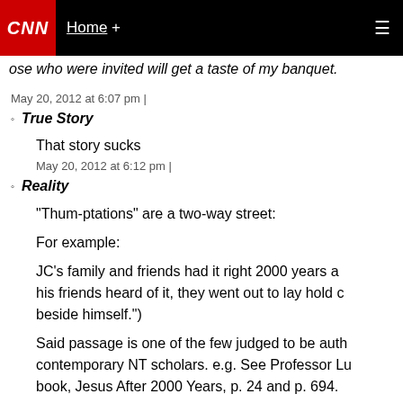CNN | Home +
ose who were invited will get a taste of my banquet.
May 20, 2012 at 6:07 pm |
True Story
That story sucks
May 20, 2012 at 6:12 pm |
Reality
"Thum-ptations" are a two-way street:

For example:

JC's family and friends had it right 2000 years a... his friends heard of it, they went out to lay hold c... beside himself.")

Said passage is one of the few judged to be auth... contemporary NT scholars. e.g. See Professor Lu... book, Jesus After 2000 Years, p. 24 and p. 694.